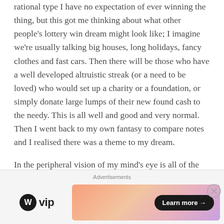rational type I have no expectation of ever winning the thing, but this got me thinking about what other people's lottery win dream might look like; I imagine we're usually talking big houses, long holidays, fancy clothes and fast cars. Then there will be those who have a well developed altruistic streak (or a need to be loved) who would set up a charity or a foundation, or simply donate large lumps of their new found cash to the needy. This is all well and good and very normal. Then I went back to my own fantasy to compare notes and I realised there was a theme to my dream.
In the peripheral vision of my mind's eye is all of the above; the cars, the houses and the charity work, but
Advertisements
[Figure (logo): WordPress VIP logo — WordPress logo circle icon followed by 'vip' text in bold]
[Figure (infographic): Advertisement banner with gradient background (orange to pink to purple) and a 'Learn more →' button in dark rounded pill shape]